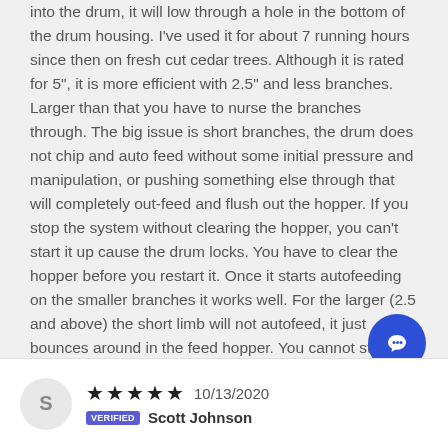into the drum, it will low through a hole in the bottom of the drum housing. I've used it for about 7 running hours since then on fresh cut cedar trees. Although it is rated for 5", it is more efficient with 2.5" and less branches. Larger than that you have to nurse the branches through. The big issue is short branches, the drum does not chip and auto feed without some initial pressure and manipulation, or pushing something else through that will completely out-feed and flush out the hopper. If you stop the system without clearing the hopper, you can't start it up cause the drum locks. You have to clear the hopper before you restart it. Once it starts autofeeding on the smaller branches it works well. For the larger (2.5 and above) the short limb will not autofeed, it just bounces around in the feed hopper. You cannot stuff the hopper with dense limbs (lots of small branches), it will stall. It serves my needs because I use the larger stuff for firewood. And I have time 'cause I'm retired. The smaller stuff makes a good mulch. Have not processed hardwoods yet.
★★★★★ 10/13/2020 Verified Scott Johnson